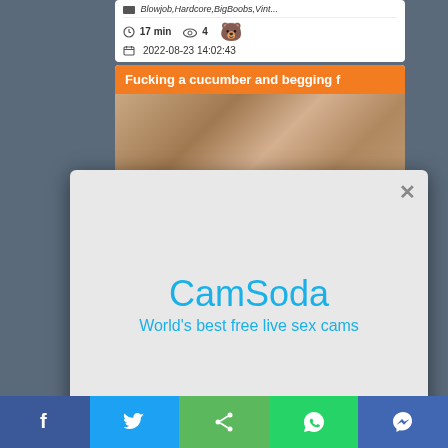Blowjob,Hardcore,BigBoobs,Vint...
17 min   4   2022-08-23 14:02:43
Fucking a cucumber and begging f
[Figure (screenshot): Video thumbnail showing partial adult content]
[Figure (screenshot): Modal popup for CamSoda with close button (X), brand name and tagline]
CamSoda
World's best free live sex cams
f  (twitter bird)  (share icon)  (whatsapp)  (messenger)